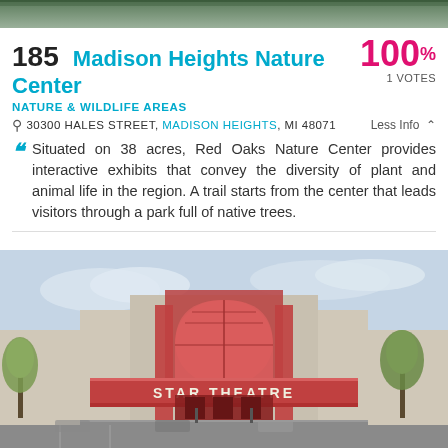[Figure (photo): Top strip showing partial nature/landscape image]
185 Madison Heights Nature Center
100% 1 VOTES
NATURE & WILDLIFE AREAS
30300 HALES STREET, MADISON HEIGHTS, MI 48071   Less Info
Situated on 38 acres, Red Oaks Nature Center provides interactive exhibits that convey the diversity of plant and animal life in the region. A trail starts from the center that leads visitors through a park full of native trees.
[Figure (photo): Photo of Star Theatre building exterior, a cinema with a large arched red glass facade and a marquee reading STAR THEATRE, with trees and parking lot visible.]